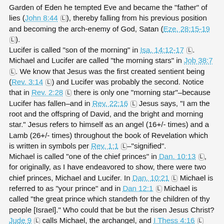Garden of Eden he tempted Eve and became the "father" of lies (John 8:44 [L]), thereby falling from his previous position and becoming the arch-enemy of God, Satan (Eze. 28:15-19 [L]). Lucifer is called "son of the morning" in Isa. 14:12-17 [L]. Michael and Lucifer are called "the morning stars" in Job 38:7 [L]. We know that Jesus was the first created sentient being (Rev. 3:14 [L]) and Lucifer was probably the second. Notice that in Rev. 2:28 [L] there is only one "morning star"–because Lucifer has fallen–and in Rev. 22:16 [L] Jesus says, "I am the root and the offspring of David, and the bright and morning star." Jesus refers to himself as an angel (16+/- times) and a Lamb (26+/- times) throughout the book of Revelation which is written in symbols per Rev. 1:1 [L]–"signified". Michael is called "one of the chief princes" in Dan. 10:13 [L], for originally, as I have endeavored to show, there were two chief princes, Michael and Lucifer. In Dan. 10:21 [L] Michael is referred to as "your prince" and in Dan 12:1 [L] Michael is called "the great prince which standeth for the children of thy people [Israel]." Who could that be but the risen Jesus Christ? Jude 9 [L] calls Michael, the archangel, and I Thess 4:16 [L] says, "For the Lord [Jesus Christ] himself shall descend from heaven with a shout, with the voice of the archangel [the only remaining one for Lucifer has fallen (Luke 10:18 [L])]...." Jesus is still of the rank of an archangel because Jesus and the Church